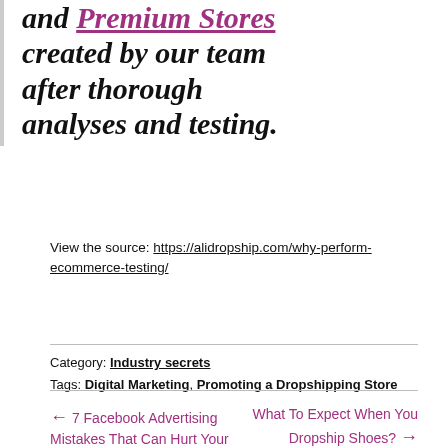and Premium Stores created by our team after thorough analyses and testing.
View the source: https://alidropship.com/why-perform-ecommerce-testing/
Category: Industry secrets
Tags: Digital Marketing, Promoting a Dropshipping Store
← 7 Facebook Advertising Mistakes That Can Hurt Your Business
What To Expect When You Dropship Shoes? →